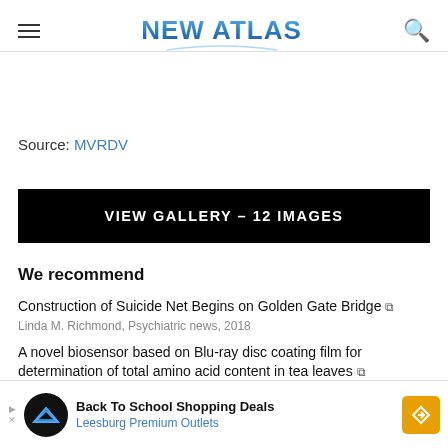NEW ATLAS
Source: MVRDV
VIEW GALLERY - 12 IMAGES
We recommend
Construction of Suicide Net Begins on Golden Gate Bridge
Linda M. Richmond, Psychiatric news, 2018
A novel biosensor based on Blu-ray disc coating film for determination of total amino acid content in tea leaves
Lanling... aign 2 IF, 202...
[Figure (other): Advertisement banner: Back To School Shopping Deals - Leesburg Premium Outlets]